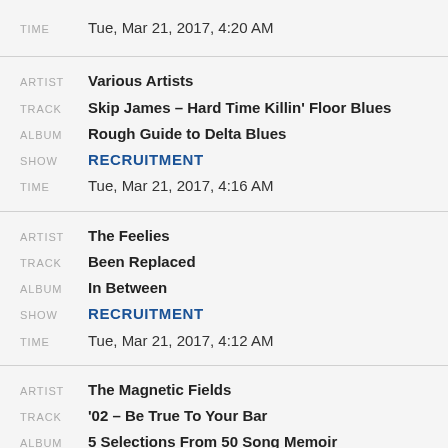| TIME | Tue, Mar 21, 2017, 4:20 AM |
| ARTIST | Various Artists |
| TRACK | Skip James – Hard Time Killin' Floor Blues |
| ALBUM | Rough Guide to Delta Blues |
| SHOW | RECRUITMENT |
| TIME | Tue, Mar 21, 2017, 4:16 AM |
| ARTIST | The Feelies |
| TRACK | Been Replaced |
| ALBUM | In Between |
| SHOW | RECRUITMENT |
| TIME | Tue, Mar 21, 2017, 4:12 AM |
| ARTIST | The Magnetic Fields |
| TRACK | '02 – Be True To Your Bar |
| ALBUM | 5 Selections From 50 Song Memoir |